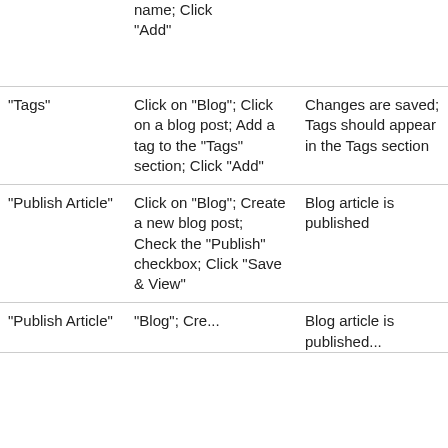| Field/Feature | Test Steps | Expected Result | Status | Notes |
| --- | --- | --- | --- | --- |
|  | name; Click "Add" |  | Not Tested | - |
| "Tags" | Click on "Blog"; Click on a blog post; Add a tag to the "Tags" section; Click "Add" | Changes are saved; Tags should appear in the Tags section | Not Tested | - |
| "Publish Article" | Click on "Blog"; Create a new blog post; Check the "Publish" checkbox; Click "Save & View" | Blog article is published | Not Tested | - |
| "Publish Article" | Click on "Blog"; Create ... | Blog article is published ... | Not Tested | - |